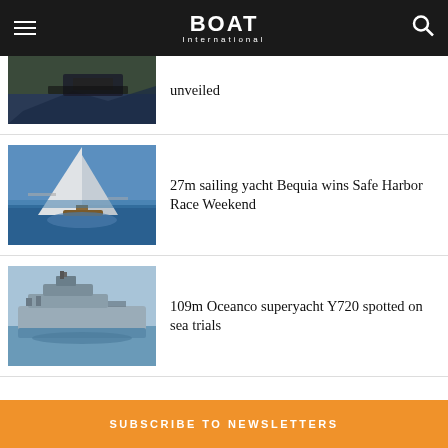BOAT International
unveiled
27m sailing yacht Bequia wins Safe Harbor Race Weekend
109m Oceanco superyacht Y720 spotted on sea trials
SUBSCRIBE TO NEWSLETTERS